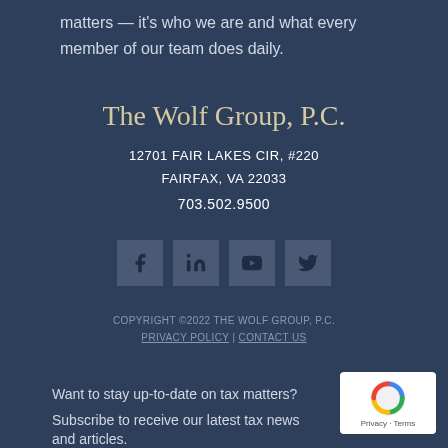matters — it's who we are and what every member of our team does daily.
The Wolf Group, P.C.
12701 FAIR LAKES CIR, #220
FAIRFAX, VA 22033
703.502.9500
[Figure (infographic): Social media icons: Facebook, LinkedIn, YouTube, Twitter]
COPYRIGHT ©2022 THE WOLF GROUP, P.C.
PRIVACY POLICY | CONTACT US
Want to stay up-to-date on tax matters?
Subscribe to receive our latest tax news and articles.